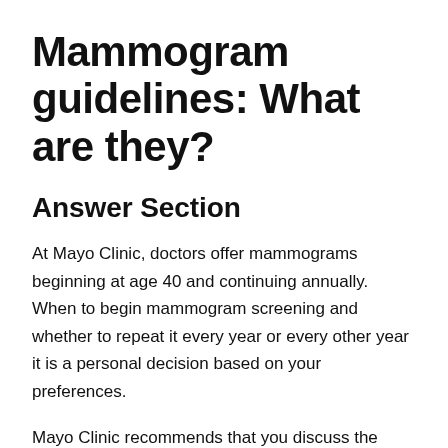Mammogram guidelines: What are they?
Answer Section
At Mayo Clinic, doctors offer mammograms beginning at age 40 and continuing annually. When to begin mammogram screening and whether to repeat it every year or every other year it is a personal decision based on your preferences.
Mayo Clinic recommends that you discuss the